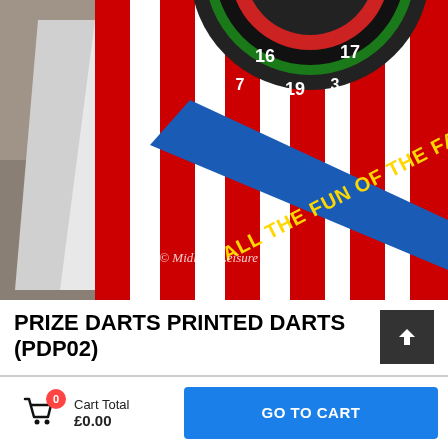[Figure (photo): Photo of a printed prize darts board game prop with red and white stripes and a blue diagonal banner reading 'ALL THE FUN OF THE FAIR' in yellow text, with a dartboard visible at the top. Watermark reads '© Midland Leisure Sales'.]
PRIZE DARTS PRINTED DARTS (PDP02)
Cart Total £0.00
GO TO CART